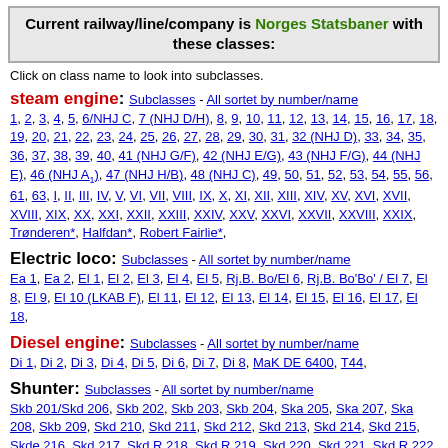Current railway/line/company is Norges Statsbaner with these classes:
Click on class name to look into subclasses.
steam engine: Subclasses - All sortet by number/name
1, 2, 3, 4, 5, 6/NHJ C, 7 (NHJ D/H), 8, 9, 10, 11, 12, 13, 14, 15, 16, 17, 18, 19, 20, 21, 22, 23, 24, 25, 26, 27, 28, 29, 30, 31, 32 (NHJ D), 33, 34, 35, 36, 37, 38, 39, 40, 41 (NHJ G/F), 42 (NHJ E/G), 43 (NHJ F/G), 44 (NHJ E), 46 (NHJ A1), 47 (NHJ H/B), 48 (NHJ C), 49, 50, 51, 52, 53, 54, 55, 56, 61, 63, I, II, III, IV, V, VI, VII, VIII, IX, X, XI, XII, XIII, XIV, XV, XVI, XVII, XVIII, XIX, XX, XXI, XXII, XXIII, XXIV, XXV, XXVI, XXVII, XXVIII, XXIX, Trønderen*, Halfdan*, Robert Fairlie*,
Electric loco: Subclasses - All sortet by number/name
Ea 1, Ea 2, El 1, El 2, El 3, El 4, El 5, Rj.B. Bo/El 6, Rj.B. Bo'Bo' / El 7, El 8, El 9, El 10 (LKAB F), El 11, El 12, El 13, El 14, El 15, El 16, El 17, El 18,
Diesel engine: Subclasses - All sortet by number/name
Di 1, Di 2, Di 3, Di 4, Di 5, Di 6, Di 7, Di 8, MaK DE 6400, T44,
Shunter: Subclasses - All sortet by number/name
Skb 201/Skd 206, Skb 202, Skb 203, Skb 204, Ska 205, Ska 207, Ska 208, Skb 209, Skd 210, Skd 211, Skd 212, Skd 213, Skd 214, Skd 215, Skde 216, Skd 217, Skd R 218, Skd R 219, Skd 220, Skd 221, Skd R 222, Ska